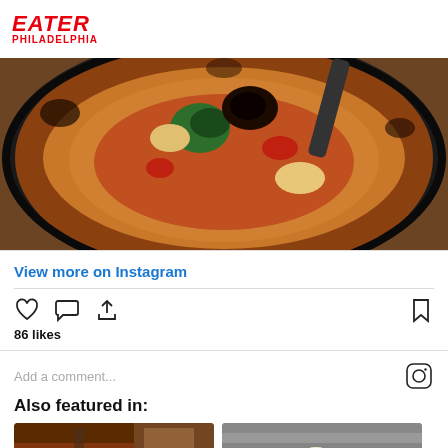EATER PHILADELPHIA
[Figure (photo): Aerial view of a Neapolitan pizza in a black pan with charred crust, topped with vegetables]
View more on Instagram
86 likes
Add a comment...
Also featured in:
[Figure (photo): Person slicing pizza in a box, cardboard boxes in background]
[Figure (photo): Row of beer glasses with amber liquid against a stone wall background]